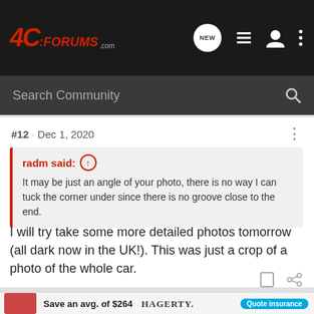4C-FORUMS.com
Search Community
#12 · Dec 1, 2020
radm said: ↑
It may be just an angle of your photo, there is no way I can tuck the corner under since there is no groove close to the end.
I will try take some more detailed photos tomorrow (all dark now in the UK!). This was just a crop of a photo of the whole car.
[Figure (other): Advertisement: Hagerty insurance - Save an avg. of $264 vs. standard insurance. Quote insurance button.]